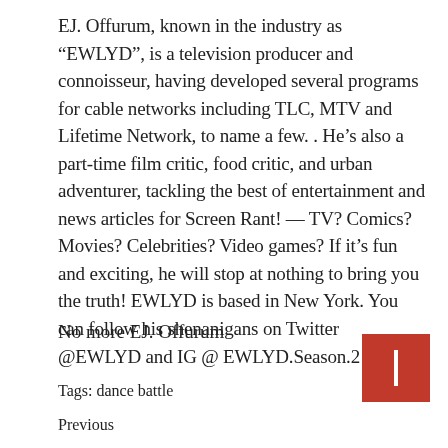EJ. Offurum, known in the industry as “EWLYD”, is a television producer and connoisseur, having developed several programs for cable networks including TLC, MTV and Lifetime Network, to name a few. . He’s also a part-time film critic, food critic, and urban adventurer, tackling the best of entertainment and news articles for Screen Rant! — TV? Comics? Movies? Celebrities? Video games? If it’s fun and exciting, he will stop at nothing to bring you the truth! EWLYD is based in New York. You can follow his shenanigans on Twitter @EWLYD and IG @ EWLYD.Season.2
No more EJ. Offurum
Tags: dance battle
Previous